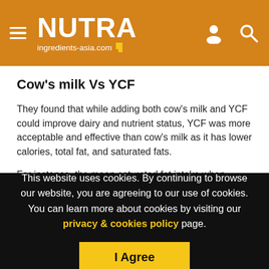NUTRA ingredients-asia.com
Cow’s milk Vs YCF
They found that while adding both cow’s milk and YCF could improve dairy and nutrient status, YCF was more acceptable and effective than cow’s milk as it has lower calories, total fat, and saturated fats.
For instance, the mean saturated fat intake when consuming cow’s milk was 9.2g and lower at 8.5g when consuming YCF.
This website uses cookies. By continuing to browse our website, you are agreeing to our use of cookies. You can learn more about cookies by visiting our privacy & cookies policy page.
I Agree